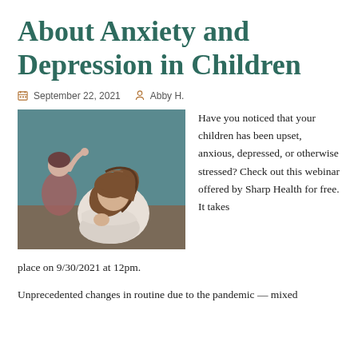About Anxiety and Depression in Children
September 22, 2021   Abby H.
[Figure (photo): A distressed teenage girl with long brown hair hugging her knees, and a concerned adult woman in the background against a teal wall.]
Have you noticed that your children has been upset, anxious, depressed, or otherwise stressed? Check out this webinar offered by Sharp Health for free. It takes place on 9/30/2021 at 12pm.
Unprecedented changes in routine due to the pandemic — mixed